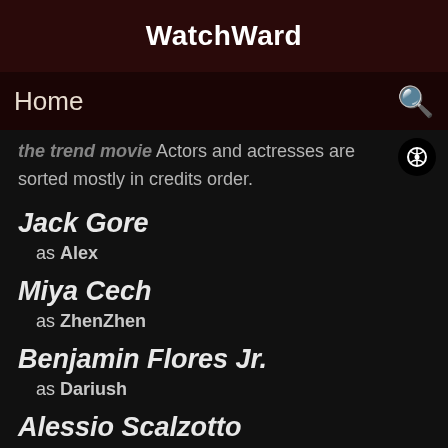WatchWard
Home
the trend movie Actors and actresses are sorted mostly in credits order.
Jack Gore as Alex
Miya Cech as ZhenZhen
Benjamin Flores Jr. as Dariush
Alessio Scalzotto